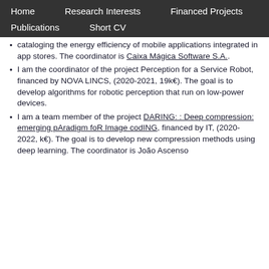Home | Research Interests | Financed Projects | Publications | Short CV
cataloging the energy efficiency of mobile applications integrated in app stores. The coordinator is Caixa Mágica Software S.A..
I am the coordinator of the project Perception for a Service Robot, financed by NOVA LINCS, (2020-2021, 19k€). The goal is to develop algorithms for robotic perception that run on low-power devices.
I am a team member of the project DARING: : Deep compression: emerging pAradigm foR Image codING, financed by IT, (2020-2022, k€). The goal is to develop new compression methods using deep learning. The coordinator is João Ascenso